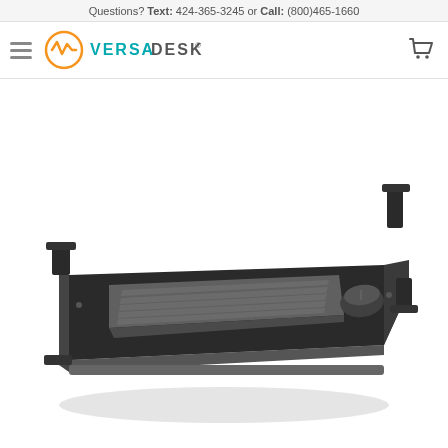Questions? Text: 424-365-3245 or Call: (800)465-1660
[Figure (logo): Versa Desk logo with hamburger menu and cart icon in navigation bar]
[Figure (photo): Black under-desk keyboard tray/drawer with keyboard and mouse on surface, shown in perspective view with mounting brackets visible]